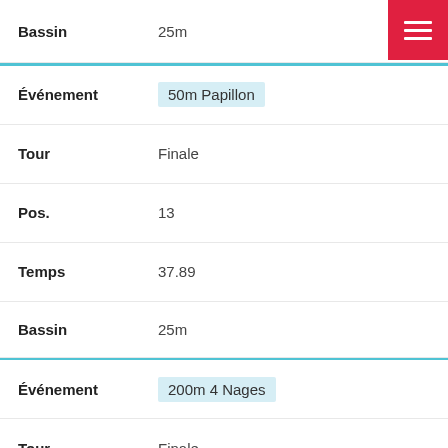| Label | Value |
| --- | --- |
| Bassin | 25m |
| Événement | 50m Papillon |
| Tour | Finale |
| Pos. | 13 |
| Temps | 37.89 |
| Bassin | 25m |
| Événement | 200m 4 Nages |
| Tour | Finale |
| Pos. | 11 |